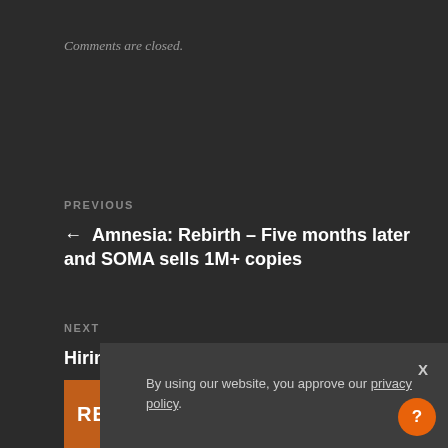Comments are closed.
PREVIOUS
← Amnesia: Rebirth – Five months later and SOMA sells 1M+ copies
NEXT
Hiring: Gameplay Programmer -CLOSED- →
By using our website, you approve our privacy policy.